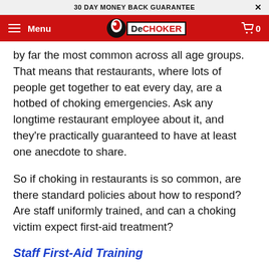30 DAY MONEY BACK GUARANTEE
Menu | DeCHOKER | 0
by far the most common across all age groups. That means that restaurants, where lots of people get together to eat every day, are a hotbed of choking emergencies. Ask any longtime restaurant employee about it, and they're practically guaranteed to have at least one anecdote to share.
So if choking in restaurants is so common, are there standard policies about how to respond? Are staff uniformly trained, and can a choking victim expect first-aid treatment?
Staff First-Aid Training
Across the U.S., laws about restaurant